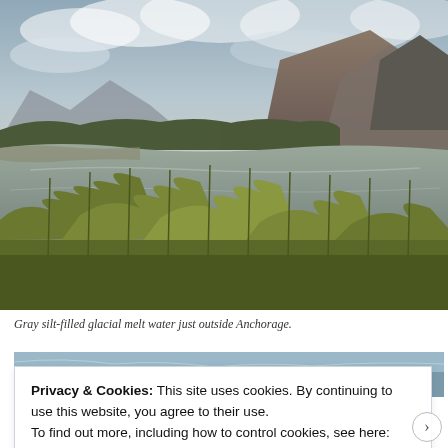[Figure (photo): Landscape photograph of a river or glacial waterway with gray silt-filled water, flanked by shrubs and tall grasses in the foreground, a tree line in the middle distance, and dramatic mountains under a cloudy sky, just outside Anchorage, Alaska.]
Gray silt-filled glacial melt water just outside Anchorage.
[Figure (photo): Partial view of a second landscape photograph, mostly obscured by the cookie consent banner overlay.]
Privacy & Cookies: This site uses cookies. By continuing to use this website, you agree to their use.
To find out more, including how to control cookies, see here: Cookie Policy
Close and accept